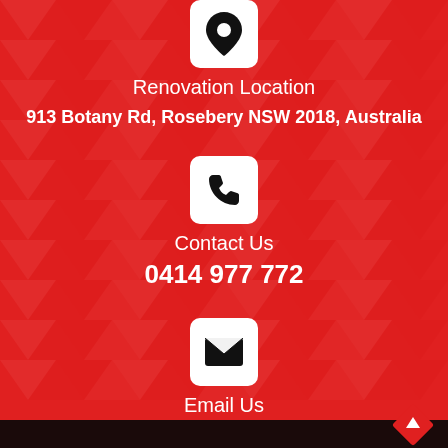[Figure (infographic): White rounded square icon box with black map pin / location marker icon]
Renovation Location
913 Botany Rd, Rosebery NSW 2018, Australia
[Figure (infographic): White rounded square icon box with black telephone handset icon]
Contact Us
0414 977 772
[Figure (infographic): White rounded square icon box with black envelope / email icon]
Email Us
greg@renovationlocation.com.au